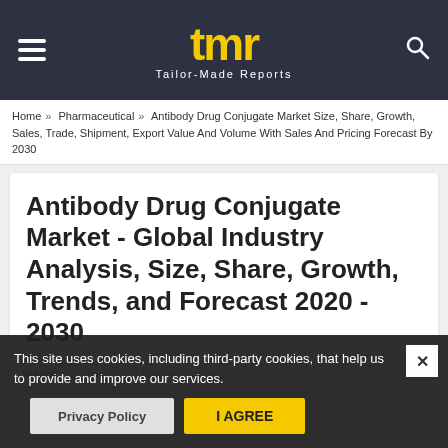[Figure (logo): TMR Tailor-Made Reports logo with yellow stylized 'tmr' letters and white subtitle text on dark navy background, with hamburger menu icon on left and search icon on right]
Home » Pharmaceutical » Antibody Drug Conjugate Market Size, Share, Growth, Sales, Trade, Shipment, Export Value And Volume With Sales And Pricing Forecast By 2030
Antibody Drug Conjugate Market - Global Industry Analysis, Size, Share, Growth, Trends, and Forecast 2020 - 2030
Status : October 2022 | Pharmaceutical
This site uses cookies, including third-party cookies, that help us to provide and improve our services.
Privacy Policy | I AGREE